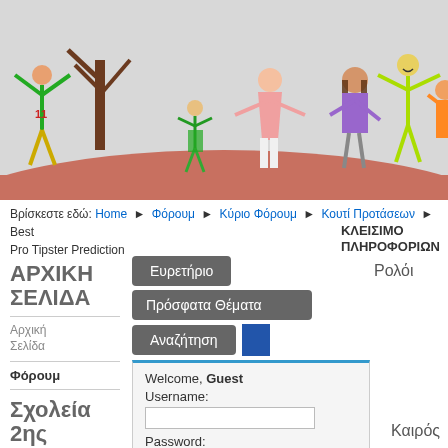[Figure (illustration): Children's crayon drawing of stick figures of children playing outdoors, with a tree, colorful figures in green, orange, pink, purple, and yellow-green on a pinkish ground with grey/white sky background.]
Βρίσκεστε εδώ: Home ▶ Φόρουμ ▶ Κύριο Φόρουμ ▶ Κουτί Προτάσεων ▶ Best Pro Tipster Prediction
ΚΛΕΙΣΙΜΟ ΠΛΗΡΟΦΟΡΙΩΝ
ΑΡΧΙΚΗ ΣΕΛΙΔΑ
Ευρετήριο
Πρόσφατα Θέματα
Αναζήτηση
Ρολόι
Αρχική Σελίδα
Φόρουμ
Welcome, Guest
Username:
Password:
Remember me  Login
Forgot your password? Forgot
Σχολεία 2ης Περιφέρειας
Καιρός